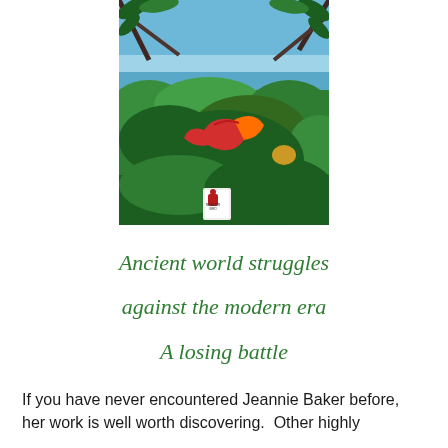[Figure (photo): Book cover showing a tropical scene with blue ocean, green foliage and trees, and a red parrot/macaw in flight, with a publisher logo at the bottom center.]
Ancient world struggles
against the modern era
A losing battle
If you have never encountered Jeannie Baker before, her work is well worth discovering.  Other highly recommended books of hers include the well-recognised